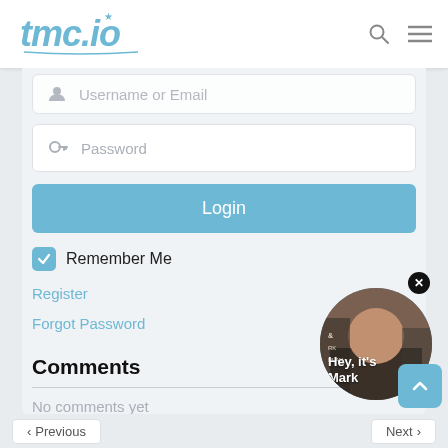tmc.io
[Figure (screenshot): Login form with Username or Email field (partially cut off), Password field, Login button, Remember Me checkbox, Register link, Forgot Password link, Comments section with No comments yet text, and a popup circle showing Mark's profile photo with 'Hey, it's Mark' overlay text.]
Username or Email
Password
Login
Remember Me
Register
Forgot Password
Comments
No comments yet
Hey, it's Mark
Previous
Next